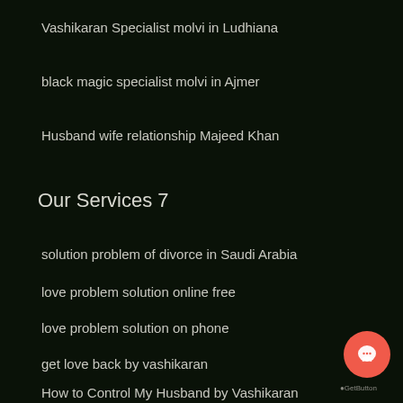Vashikaran Specialist molvi in Ludhiana
black magic specialist molvi in Ajmer
Husband wife relationship Majeed Khan
Our Services 7
solution problem of divorce in Saudi Arabia
love problem solution online free
love problem solution on phone
get love back by vashikaran
How to Control My Husband by Vashikaran